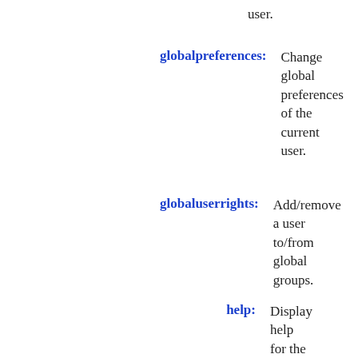user.
globalpreferences: Change global preferences of the current user.
globaluserrights: Add/remove a user to/from global groups.
help: Display help for the specified modules.